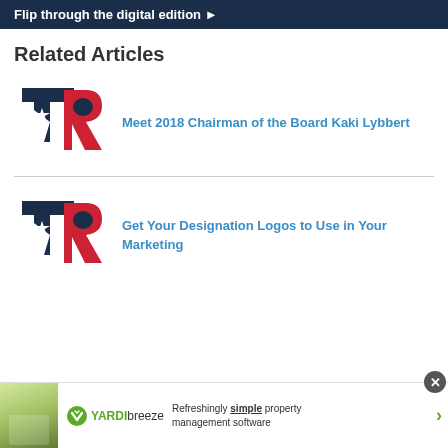Flip through the digital edition ▶
Related Articles
[Figure (logo): Texas Realtors logo — dark navy block T with red R and white star]
Meet 2018 Chairman of the Board Kaki Lybbert
[Figure (logo): Texas Realtors logo — dark navy block T with red R and white star]
Get Your Designation Logos to Use in Your Marketing
[Figure (logo): Yardi Breeze advertisement — Refreshingly simple property management software]